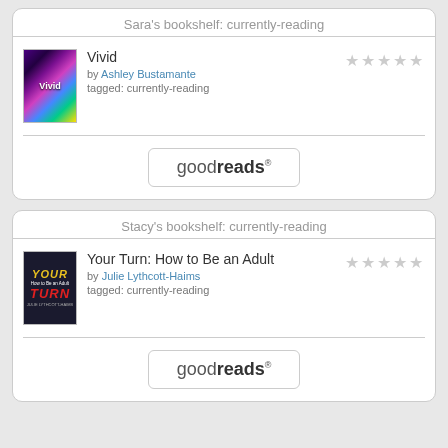Sara's bookshelf: currently-reading
[Figure (screenshot): Book cover for Vivid - colorful purple/teal/yellow abstract design with the word Vivid in center]
Vivid
by Ashley Bustamante
tagged: currently-reading
[Figure (other): 5 empty grey stars rating]
[Figure (logo): goodreads button/logo]
Stacy's bookshelf: currently-reading
[Figure (screenshot): Book cover for Your Turn: How to Be an Adult - dark navy background with YOUR TURN text in yellow and red]
Your Turn: How to Be an Adult
by Julie Lythcott-Haims
tagged: currently-reading
[Figure (other): 5 empty grey stars rating]
[Figure (logo): goodreads button/logo]